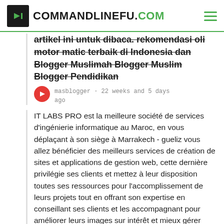COMMANDLINEFU.COM
artikel ini untuk dibaca. rekomendasi oli motor matic terbaik di Indonesia dan Blogger Muslimah Blogger Muslim Blogger Pendidikan
masblogger · 22 weeks and 5 days ago
IT LABS PRO est la meilleure société de services d'ingénierie informatique au Maroc, en vous déplaçant à son siège à Marrakech - gueliz vous allez bénéficier des meilleurs services de création de sites et applications de gestion web, cette dernière privilégie ses clients et mettez à leur disposition toutes ses ressources pour l'accomplissement de leurs projets tout en offrant son expertise en conseillant ses clients et les accompagnant pour améliorer leurs images sur intérêt et mieux gérer leurs business. Creation site web maroc
itlabspro · 22 weeks and 3 days ago